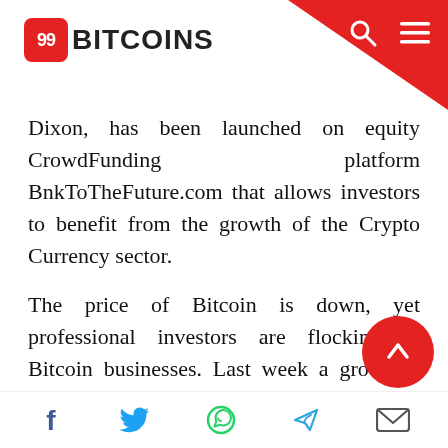99BITCOINS
Dixon, has been launched on equity CrowdFunding platform BnkToTheFuture.com that allows investors to benefit from the growth of the Crypto Currency sector.
The price of Bitcoin is down, yet professional investors are flocking to Bitcoin businesses. Last week a group of investors led by Goldman Sachs invested $50m in Bitcoin startup – Circle, after another group invested $75m into Bitcoin exchange – Coinbase, including an investment from the New York Stock Exchange, bringing the total reported venture capital investment into the sector t[o]er
Social share icons: Facebook, Twitter, WhatsApp, Telegram, Email